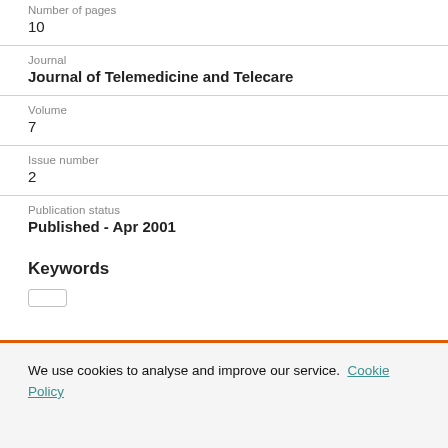Number of pages
10
Journal
Journal of Telemedicine and Telecare
Volume
7
Issue number
2
Publication status
Published - Apr 2001
Keywords
We use cookies to analyse and improve our service. Cookie Policy